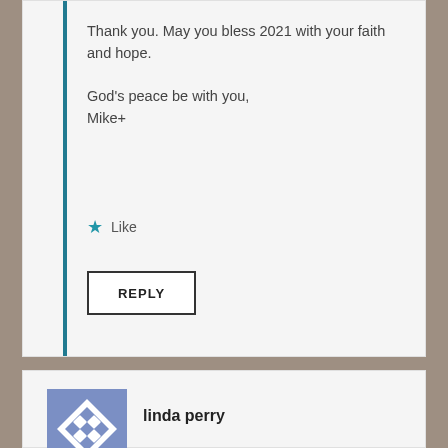Thank you. May you bless 2021 with your faith and hope.

God's peace be with you,
Mike+
★ Like
REPLY
[Figure (illustration): User avatar for linda perry — purple/blue diamond pattern on grey-blue background]
linda perry
JANUARY 19, 2021 AT 10:21 AM